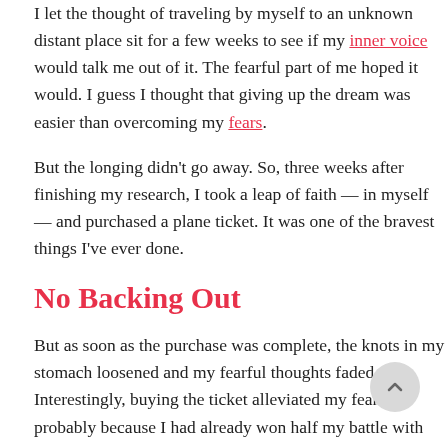I let the thought of traveling by myself to an unknown distant place sit for a few weeks to see if my inner voice would talk me out of it. The fearful part of me hoped it would. I guess I thought that giving up the dream was easier than overcoming my fears.
But the longing didn't go away. So, three weeks after finishing my research, I took a leap of faith — in myself — and purchased a plane ticket. It was one of the bravest things I've ever done.
No Backing Out
But as soon as the purchase was complete, the knots in my stomach loosened and my fearful thoughts faded. Interestingly, buying the ticket alleviated my fears, probably because I had already won half my battle with them by relinquishing the option to back out.
I had a $1500 non-refundable ticket in my pocket to prove it.
I performed several Internet searches to find a trusted guesthouse and purchased a travel guide to plan other aspects of my trip. I also...